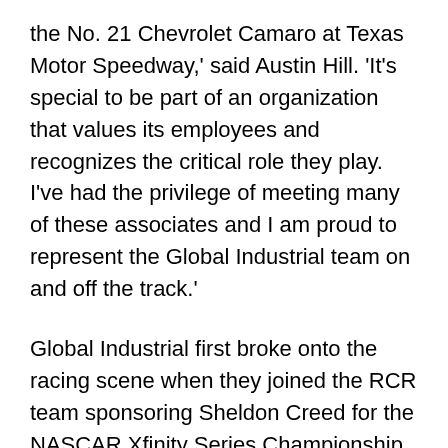the No. 21 Chevrolet Camaro at Texas Motor Speedway,' said Austin Hill. 'It's special to be part of an organization that values its employees and recognizes the critical role they play. I've had the privilege of meeting many of these associates and I am proud to represent the Global Industrial team on and off the track.'
Global Industrial first broke onto the racing scene when they joined the RCR team sponsoring Sheldon Creed for the NASCAR Xfinity Series Championship Race at Phoenix Raceway in November